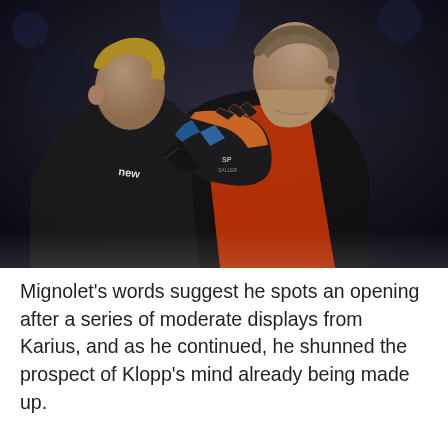[Figure (photo): Two football goalkeepers standing close together. The one on the left faces away, wearing a black jersey with 'new' visible on the back. The one on the right faces sideways wearing a red/orange top under a black jacket and is placing a goalkeeper glove (orange, black and blue) on the left player's shoulder.]
Mignolet's words suggest he spots an opening after a series of moderate displays from Karius, and as he continued, he shunned the prospect of Klopp's mind already being made up.